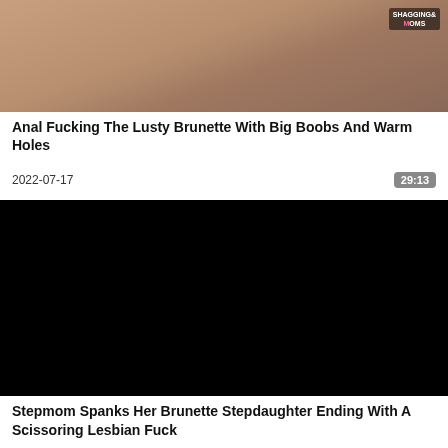[Figure (photo): Thumbnail image of a woman, partially cropped, with a watermark reading SHAGGING MOMS in the top right corner]
Anal Fucking The Lusty Brunette With Big Boobs And Warm Holes
2022-07-17	29:13
[Figure (photo): Black thumbnail image placeholder]
Stepmom Spanks Her Brunette Stepdaughter Ending With A Scissoring Lesbian Fuck